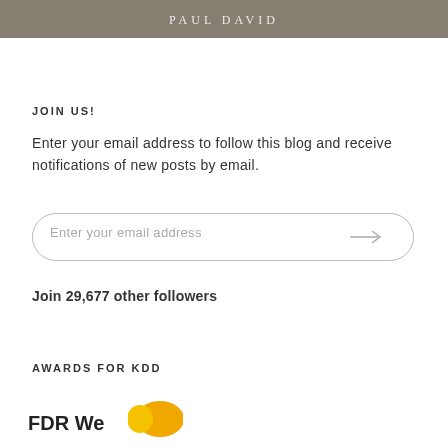[Figure (illustration): Beige/tan textured banner image at the top of the page with faint white text]
JOIN US!
Enter your email address to follow this blog and receive notifications of new posts by email.
[Figure (other): Email input field with rounded border and arrow submit button]
Join 29,677 other followers
AWARDS FOR KDD
[Figure (logo): Partial logo at bottom — bold dark text and yellow/orange shape]